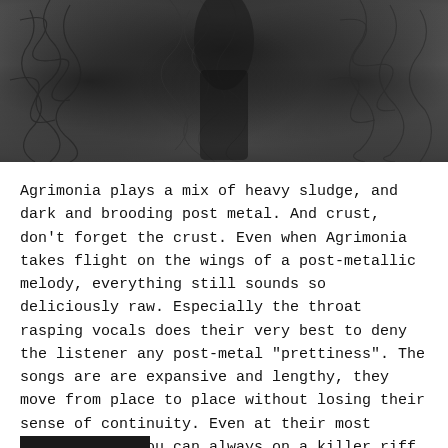[Figure (photo): Dark, high-contrast abstract photo with scribble/wire-like textures overlaid on a shadowy figure or sculpture background, rendered in grayscale]
Agrimonia plays a mix of heavy sludge, and dark and brooding post metal. And crust, don't forget the crust. Even when Agrimonia takes flight on the wings of a post-metallic melody, everything still sounds so deliciously raw. Especially the throat rasping vocals does their very best to deny the listener any post-metal "prettiness". The songs are are expansive and lengthy, they move from place to place without losing their sense of continuity. Even at their most atmospheric, you can always on a killer riff kicking in and keeping things moving. Check out the first song "The Unknown Bury Me" below, it is a lesson in how to build up a song with tension; when the vocal riff finally releases the tension, you know this is exciting stuff.